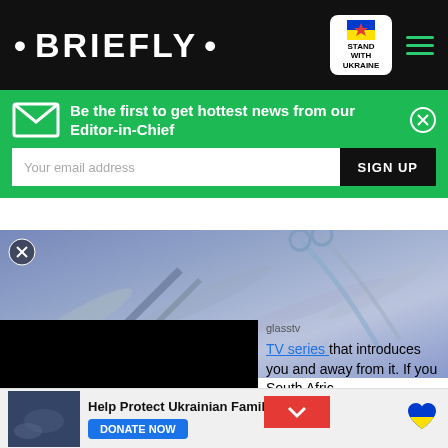• BRIEFLY •
Be the first to get hottest news from our Editor-in-Chief
Your email address
SIGN UP
[Figure (photo): Close-up photo of surgical scissors and medical tools on a metallic background with blue tint]
glasstv
TV series that introduces you and away from it. If you South Afr...
Help Protect Ukrainian Families
DONATE NOW